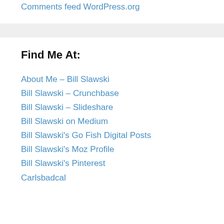Comments feed
WordPress.org
Find Me At:
About Me – Bill Slawski
Bill Slawski – Crunchbase
Bill Slawski – Slideshare
Bill Slawski on Medium
Bill Slawski's Go Fish Digital Posts
Bill Slawski's Moz Profile
Bill Slawski's Pinterest
Carlsbadcal